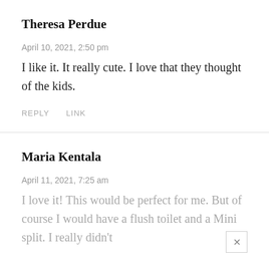Theresa Perdue
April 10, 2021, 2:50 pm
I like it. It really cute. I love that they thought of the kids.
REPLY    LINK
Maria Kentala
April 11, 2021, 7:25 am
I love it! This would be perfect for me. But of course I would have a flush toilet and a Mini split. I really didn't